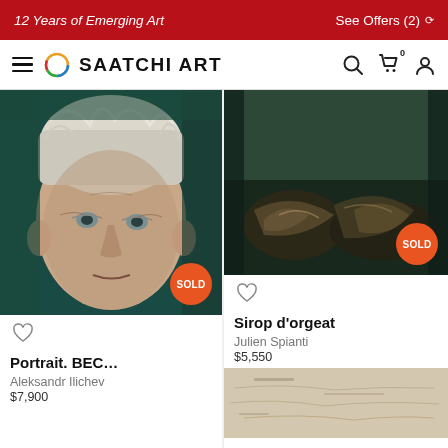12 Years of Emerging Art | See Offers (2)
SAATCHI ART
[Figure (photo): Oil painting portrait of an elderly man with white disheveled hair, deeply wrinkled face, wearing glasses, on dark teal background. SOLD badge overlay.]
Portrait. BEC…
Aleksandr Ilichev
$7,900
[Figure (photo): Dark expressionistic painting of figures in shadowy tones with dark green/brown palette. SOLD badge overlay.]
Sirop d'orgeat
Julien Spianti
$5,550
[Figure (photo): Partial view of a third painting at the bottom right, light toned with textured surface.]